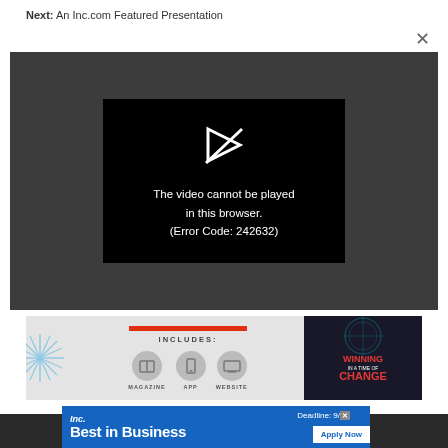Next: An Inc.com Featured Presentation
[Figure (screenshot): Video player error screen on dark grey background showing error message: The video cannot be played in this browser. (Error Code: 242632)]
[Figure (infographic): Advertisement banner showing INCLUDES: MAGAZINE, APP, WEBSITE with icons and a magazine cover showing WINNING IN A TIME OF CHANGE]
[Figure (infographic): Inc. Best in Business advertisement with Deadline: 9/ and Apply Now button]